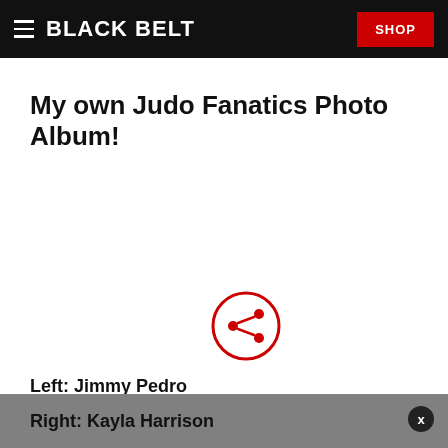BLACK BELT  SHOP
My own Judo Fanatics Photo Album!
[Figure (illustration): Share icon: a circle with a share/network symbol inside, outlined in red]
Left: Jimmy Pedro
Right: Kayla Harrison